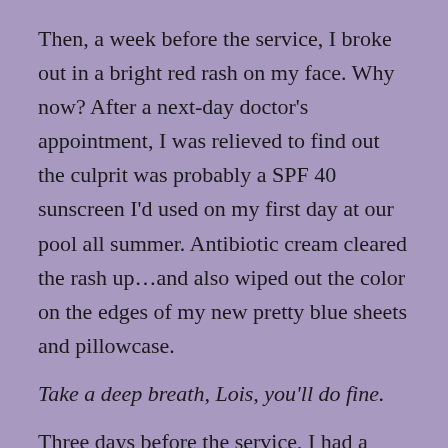Then, a week before the service, I broke out in a bright red rash on my face. Why now? After a next-day doctor’s appointment, I was relieved to find out the culprit was probably a SPF 40 sunscreen I’d used on my first day at our pool all summer. Antibiotic cream cleared the rash up…and also wiped out the color on the edges of my new pretty blue sheets and pillowcase.
Take a deep breath, Lois, you’ll do fine.
Three days before the service, I had a routine teeth cleaning and a filling fell out.